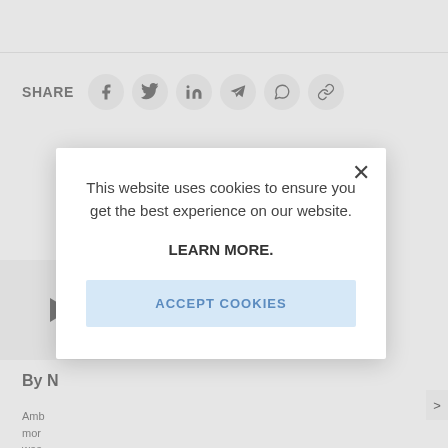SHARE
[Figure (screenshot): Share buttons row: Facebook, Twitter, LinkedIn, Telegram, WhatsApp, Link icons in circular grey buttons]
[Figure (screenshot): Cookie consent modal overlay on a news article page. Modal contains text: 'This website uses cookies to ensure you get the best experience on our website.' followed by 'LEARN MORE.' and an 'ACCEPT COOKIES' button. A close (X) button is in the top right corner of the modal.]
This website uses cookies to ensure you get the best experience on our website.
LEARN MORE.
ACCEPT COOKIES